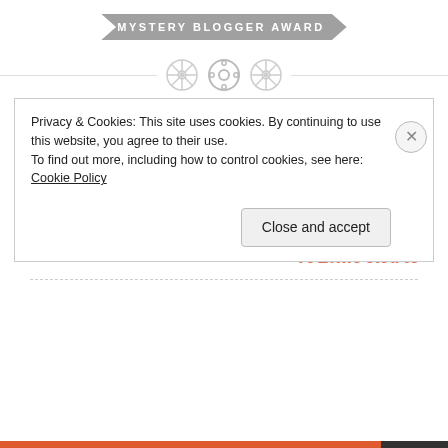[Figure (other): Mystery Blogger Award banner with arrow/chevron shape in gray]
[Figure (other): Three decorative button/circle icons on a dashed horizontal divider line]
PREVIOUS POST
Join the Fight Against Human Trafficking
NEXT POST
A Little Red X
Privacy & Cookies: This site uses cookies. By continuing to use this website, you agree to their use.
To find out more, including how to control cookies, see here: Cookie Policy
Close and accept